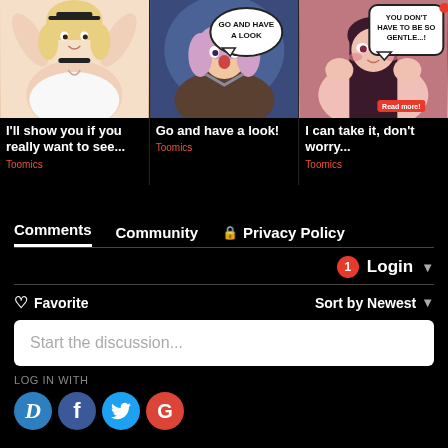[Figure (illustration): Anime-style illustration of blonde female character with arms raised, white outfit]
I'll show you if you really want to see...
Toomics
[Figure (illustration): Anime-style illustration with speech bubble saying GO AND HAVE A LOOK]
Go and have a look!
Toomics
[Figure (illustration): Anime-style illustration with speech bubble saying YOU DON'T HAVE TO BE SO GENTLE...! and Read more badge]
I can take it, don't worry...
Toomics
Comments
Community
Privacy Policy
1 Login
Favorite
Sort by Newest
Start the discussion...
LOG IN WITH